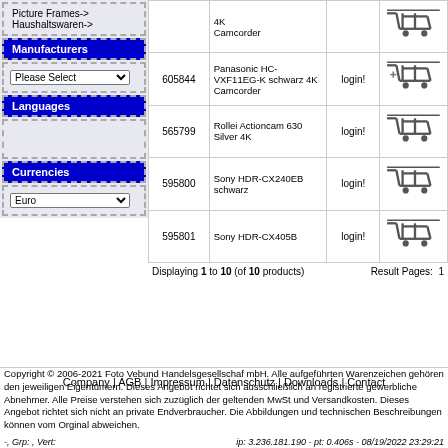Picture Frames->
Haushaltswaren->
Manufacturers
Languages
Currencies
| ID | Name | Price | Cart |
| --- | --- | --- | --- |
| 605844 | Panasonic HC-VXF11EG-K schwarz 4K Camcorder | login! |  |
| 565799 | Rollei Actioncam 630 Silver 4K | login! |  |
| 595800 | Sony HDR-CX240EB schwarz | login! |  |
| 595801 | Sony HDR-CX405B | login! |  |
Displaying 1 to 10 (of 10 products)
Result Pages:  1
Company | AGB | Impressum | Datenschutz | Downloads | Contact
Copyright © 2006-2021 Foto Vebund Handelsgesellschaf mbH. Alle aufgeführten Warenzeichen gehören den jeweiligen Eigentümern. Dieses Angebot richtet sich ausschließlich an registrierte gewerbliche Abnehmer. Alle Preise verstehen sich zuzüglich der geltenden MwSt und Versandkosten. Dieses Angebot richtet sich nicht an private Endverbraucher. Die Abbildungen und technischen Beschreibungen können vom Orginal abweichen.
-, Grp: , Vert:
ip: 3.236.181.190 - pt: 0.406s - 08/19/2022 23:29:21